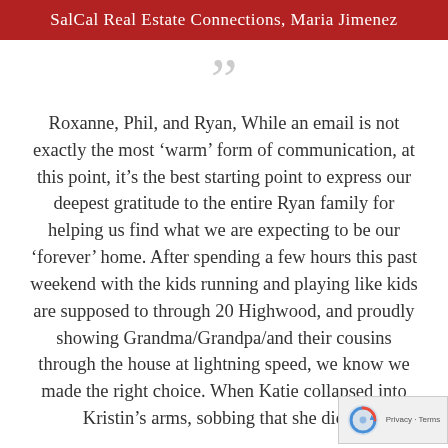SalCal Real Estate Connections, Maria Jimenez
Roxanne, Phil, and Ryan, While an email is not exactly the most ‘warm’ form of communication, at this point, it’s the best starting point to express our deepest gratitude to the entire Ryan family for helping us find what we are expecting to be our ‘forever’ home. After spending a few hours this past weekend with the kids running and playing like kids are supposed to through 20 Highwood, and proudly showing Grandma/Grandpa/and their cousins through the house at lightning speed, we know we made the right choice. When Katie collapsed into Kristin’s arms, sobbing that she didn’t